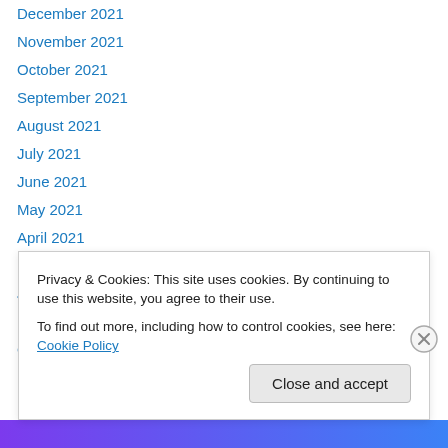December 2021
November 2021
October 2021
September 2021
August 2021
July 2021
June 2021
May 2021
April 2021
March 2021
January 2021
November 2020
October 2020
Privacy & Cookies: This site uses cookies. By continuing to use this website, you agree to their use. To find out more, including how to control cookies, see here: Cookie Policy
Close and accept